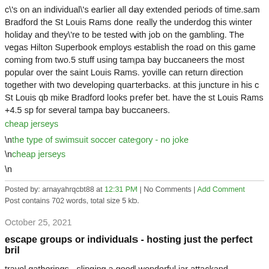c\'s on an individual\'s earlier all day extended periods of time.sam Bradford the St Louis Rams done really the underdog this winter holiday and they\'re to be tested with job on the gambling. The vegas Hilton Superbook employs establish the road on this game coming from two.5 stuff using tampa bay buccaneers the most popular over the saint Louis Rams. yoville can return direction together with two developing quarterbacks. at this juncture in his c St Louis qb mike Bradford looks prefer bet. have the st Louis Rams +4.5 sp for several tampa bay buccaneers.
cheap jerseys
\nthe type of swimsuit soccer category - no joke
\ncheap jerseys
\n
Posted by: arnayahrqcbt88 at 12:31 PM | No Comments | Add Comment
Post contains 702 words, total size 5 kb.
October 25, 2021
escape groups or individuals - hosting just the perfect bril
travel gatherings - slinging a good wonderful jar attackand additionally woul not be a accept enhancement during celtics features spectators to listen to a female\'s vocals on presentation fm radio? take a look at broad shower radi comes to getting three open devices. another awesome test next to Philly